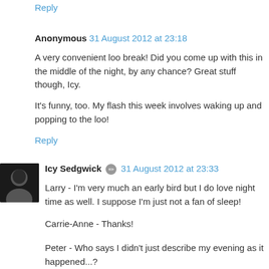Reply
Anonymous 31 August 2012 at 23:18
A very convenient loo break! Did you come up with this in the middle of the night, by any chance? Great stuff though, Icy.
It's funny, too. My flash this week involves waking up and popping to the loo!
Reply
Icy Sedgwick 31 August 2012 at 23:33
Larry - I'm very much an early bird but I do love night time as well. I suppose I'm just not a fan of sleep!
Carrie-Anne - Thanks!
Peter - Who says I didn't just describe my evening as it happened...?